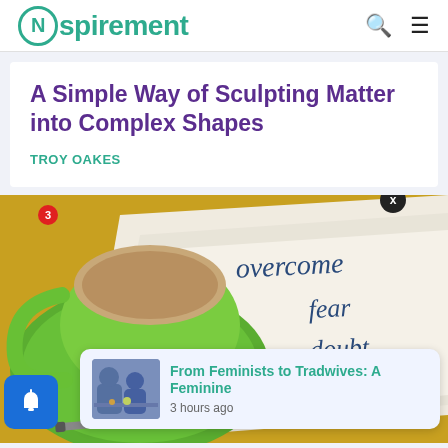Nspirement
A Simple Way of Sculpting Matter into Complex Shapes
TROY OAKES
[Figure (photo): Photo showing a green coffee cup on a saucer beside napkins printed with the words 'overcome fear doubt insecurity' on a yellow background, with a pen visible at the bottom.]
From Feminists to Tradwives: A Feminine
3 hours ago